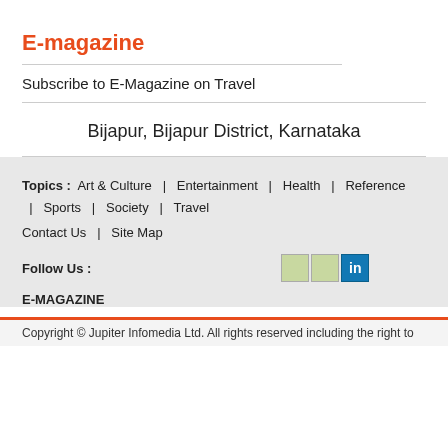E-magazine
Subscribe to E-Magazine on Travel
Bijapur, Bijapur District, Karnataka
Topics : Art & Culture | Entertainment | Health | Reference | Sports | Society | Travel
Contact Us | Site Map
Follow Us :
E-MAGAZINE
Copyright © Jupiter Infomedia Ltd. All rights reserved including the right to